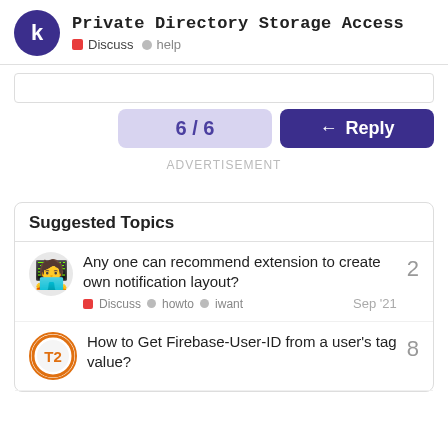Private Directory Storage Access — Discuss · help
6 / 6
Reply
ADVERTISEMENT
Suggested Topics
Any one can recommend extension to create own notification layout? — Discuss · howto · iwant — Sep '21 — 2
How to Get Firebase-User-ID from a user's tag value? — 8